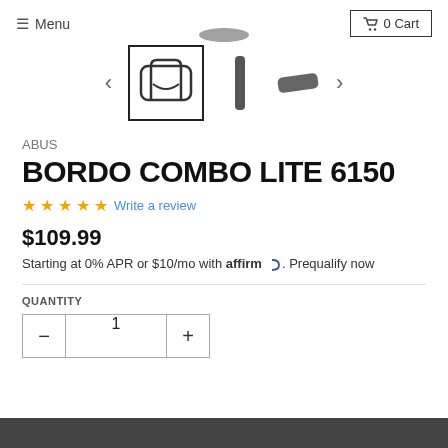≡ Menu | 🛒 0 Cart
[Figure (photo): Product thumbnail carousel showing ABUS Bordo Combo Lite 6150 bike lock parts: selected thumbnail shows folding lock shackle shape, second shows lock cylinder, third shows a key/pin component. Navigation arrows on left and right.]
ABUS
BORDO COMBO LITE 6150
☆☆☆☆☆ Write a review
$109.99
Starting at 0% APR or $10/mo with affirm. Prequalify now